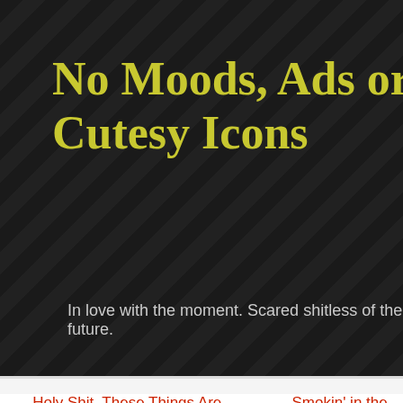No Moods, Ads or Cutesy Icons
In love with the moment. Scared shitless of the future.
« Holy Shit, These Things Are Real?    Smokin' in the Gi
The Con of Wrath.
I've always had ambivalent feelings about Polaris. Formerly Trek", one of the huger local cons, it changed its name a fe back and started featuring sf novelists in an attempt to expa literary end of the sf pool. Their media roots have always re front and center, though. When I appear it's always as one